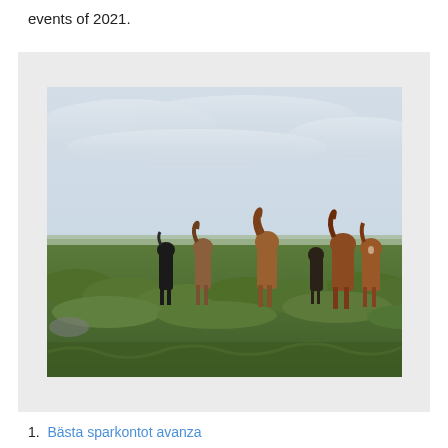events of 2021.
[Figure (photo): A group of Icelandic horses standing in a green grassy landscape under a wide cloudy sky. Several horses of brown and black coloring are visible in the field.]
1. Bästa sparkontot avanza